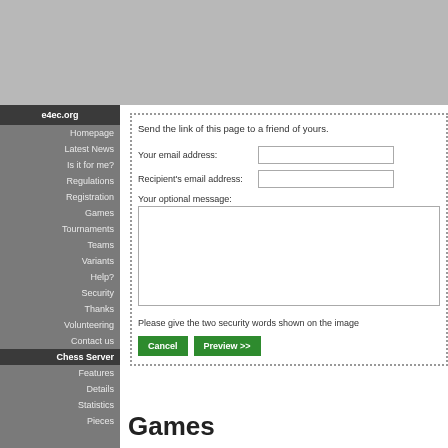e4ec.org
Homepage
Latest News
Is it for me?
Regulations
Registration
Games
Tournaments
Teams
Variants
Help?
Security
Thanks
Volunteering
Contact us
Chess Server
Features
Details
Statistics
Pieces
Send the link of this page to a friend of yours.
Your email address:
Recipient's email address:
Your optional message:
Please give the two security words shown on the image
Games